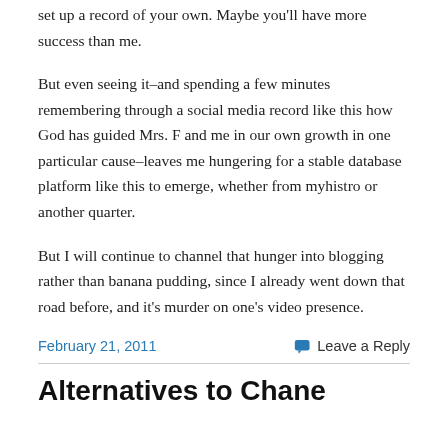set up a record of your own. Maybe you'll have more success than me.
But even seeing it–and spending a few minutes remembering through a social media record like this how God has guided Mrs. F and me in our own growth in one particular cause–leaves me hungering for a stable database platform like this to emerge, whether from myhistro or another quarter.
But I will continue to channel that hunger into blogging rather than banana pudding, since I already went down that road before, and it's murder on one's video presence.
February 21, 2011
Leave a Reply
Alternatives to Chane